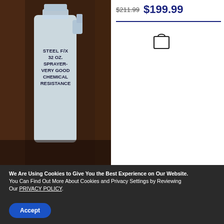[Figure (photo): A white 32 oz spray bottle labeled 'STEEL F/X 32 OZ. SPRAYER- VERY GOOD CHEMICAL RESISTANCE' on a dark background with leather-like texture]
$211.99 $199.99
32 OZ. SPRAY BOTTLES
We Are Using Cookies to Give You the Best Experience on Our Website. You Can Find Out More About Cookies and Privacy Settings by Reviewing Our PRIVACY POLICY.
Accept